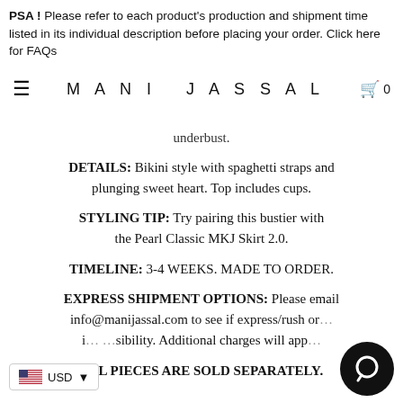PSA! Please refer to each product's production and shipment time listed in its individual description before placing your order. Click here for FAQs
MANI JASSAL  0
underbust.
DETAILS: Bikini style with spaghetti straps and plunging sweet heart. Top includes cups.
STYLING TIP: Try pairing this bustier with the Pearl Classic MKJ Skirt 2.0.
TIMELINE: 3-4 WEEKS. MADE TO ORDER.
EXPRESS SHIPMENT OPTIONS: Please email info@manijassal.com to see if express/rush or... is a possibility. Additional charges will app...
ALL PIECES ARE SOLD SEPARATELY.